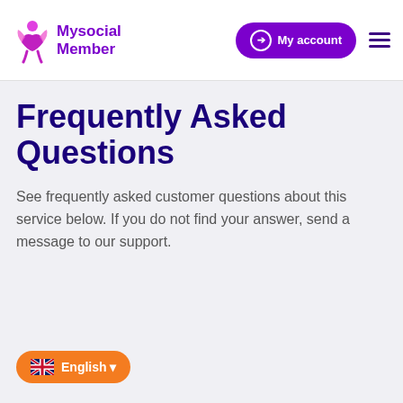[Figure (logo): MySocialMember logo with purple figure icon and purple text reading 'Mysocial Member']
My account  ☰
Frequently Asked Questions
See frequently asked customer questions about this service below. If you do not find your answer, send a message to our support.
[Figure (other): Orange pill-shaped button with UK flag and text 'English ▼']